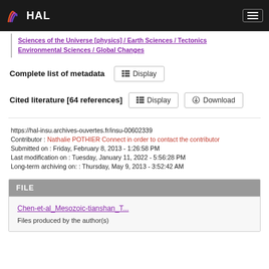HAL
Sciences of the Universe [physics] / Earth Sciences / Tectonics
Environmental Sciences / Global Changes
Complete list of metadata  Display
Cited literature [64 references]  Display  Download
https://hal-insu.archives-ouvertes.fr/insu-00602339
Contributor : Nathalie POTHIER Connect in order to contact the contributor
Submitted on : Friday, February 8, 2013 - 1:26:58 PM
Last modification on : Tuesday, January 11, 2022 - 5:56:28 PM
Long-term archiving on: : Thursday, May 9, 2013 - 3:52:42 AM
FILE
Chen-et-al_Mesozoic-tianshan_T...
Files produced by the author(s)